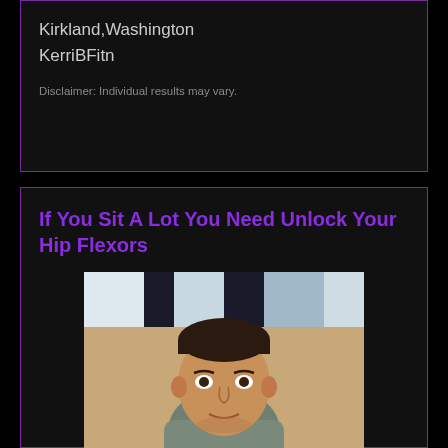Kirkland,Washington
KerriBFitn
Disclaimer: Individual results may vary.
If You Sit A Lot You Need Unlock Your Hip Flexors
[Figure (photo): Headshot of a man with short dark hair wearing a grey t-shirt, smiling slightly, against a tan/beige wall background with abstract art visible behind him.]